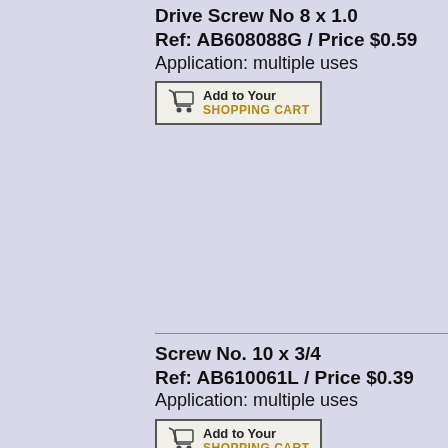Drive Screw No 8 x 1.0
Ref: AB608088G / Price $0.59
Application: multiple uses
[Figure (other): Add to Your SHOPPING CART button with shopping cart icon]
Screw No. 10 x 3/4
Ref: AB610061L / Price $0.39
Application: multiple uses
[Figure (other): Add to Your SHOPPING CART button with shopping cart icon]